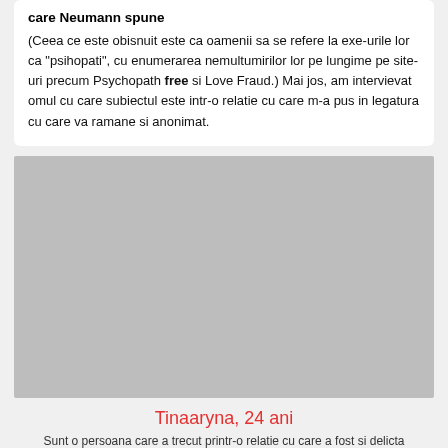care Neumann spune
(Ceea ce este obisnuit este ca oamenii sa se refere la exe-urile lor ca "psihopati", cu enumerarea nemultumirilor lor pe lungime pe site-uri precum Psychopath free si Love Fraud.) Mai jos, am intervievat omul cu care subiectul este intr-o relatie cu care m-a pus in legatura cu care va ramane si anonimat.
[Figure (photo): Gray placeholder image block]
Tinaaryna, 24 ani
Sunt o persoana care a trecut printr-o relatie cu care a fost si delicta